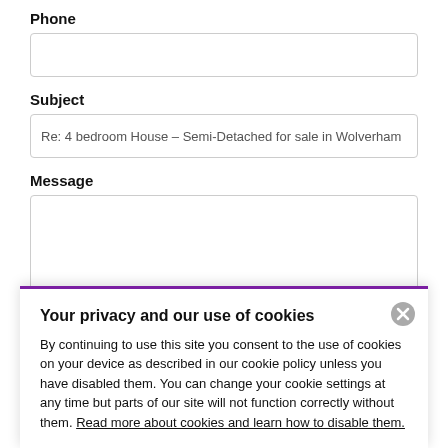Phone
[Figure (screenshot): Empty phone input text field]
Subject
[Figure (screenshot): Subject input field pre-filled with: Re: 4 bedroom House – Semi-Detached for sale in Wolverham]
Message
[Figure (screenshot): Empty message textarea]
Your privacy and our use of cookies
By continuing to use this site you consent to the use of cookies on your device as described in our cookie policy unless you have disabled them. You can change your cookie settings at any time but parts of our site will not function correctly without them. Read more about cookies and learn how to disable them.